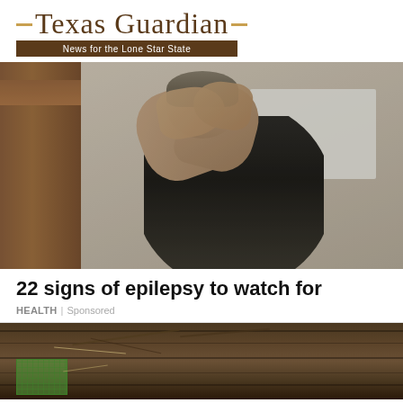— Texas Guardian— News for the Lone Star State
[Figure (photo): A person in a black t-shirt leaning against a door frame with both hands covering their face, appearing distressed. Background shows a blurred indoor setting with natural light from a window.]
22 signs of epilepsy to watch for
HEALTH | Sponsored
[Figure (photo): Close-up of weathered wooden planks with debris, twigs, and a green mesh/screen patch visible in the lower left corner.]